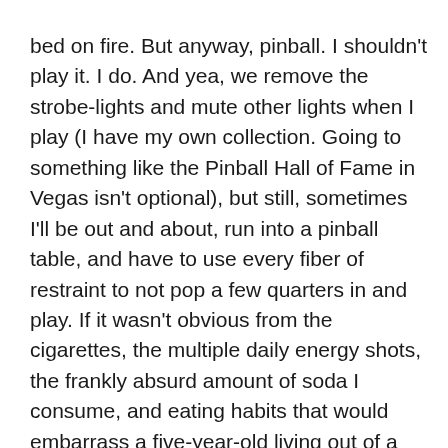bed on fire. But anyway, pinball. I shouldn't play it. I do. And yea, we remove the strobe-lights and mute other lights when I play (I have my own collection. Going to something like the Pinball Hall of Fame in Vegas isn't optional), but still, sometimes I'll be out and about, run into a pinball table, and have to use every fiber of restraint to not pop a few quarters in and play. If it wasn't obvious from the cigarettes, the multiple daily energy shots, the frankly absurd amount of soda I consume, and eating habits that would embarrass a five-year-old living out of a candy store, I was apparently born without any survival instinct. So, yea, I play a lot of pinball.
Oh, video pinball? Forget about it. Those are NEVER epilepsy friendly. Oddly enough, the one and only game I've ever contributed to a Kickstarter for was The Pinball Arcade. I don't think that's out of character at this point.